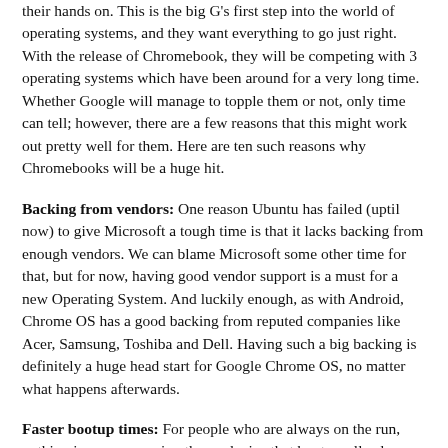their hands on. This is the big G's first step into the world of operating systems, and they want everything to go just right. With the release of Chromebook, they will be competing with 3 operating systems which have been around for a very long time. Whether Google will manage to topple them or not, only time can tell; however, there are a few reasons that this might work out pretty well for them. Here are ten such reasons why Chromebooks will be a huge hit.
Backing from vendors: One reason Ubuntu has failed (uptil now) to give Microsoft a tough time is that it lacks backing from enough vendors. We can blame Microsoft some other time for that, but for now, having good vendor support is a must for a new Operating System. And luckily enough, as with Android, Chrome OS has a good backing from reputed companies like Acer, Samsung, Toshiba and Dell. Having such a big backing is definitely a huge head start for Google Chrome OS, no matter what happens afterwards.
Faster bootup times: For people who are always on the run, nothing is more annoying than a device that boots really slow. Windows and Macs, despite being so popular haven't been able to make any significant leaps in this area. Google